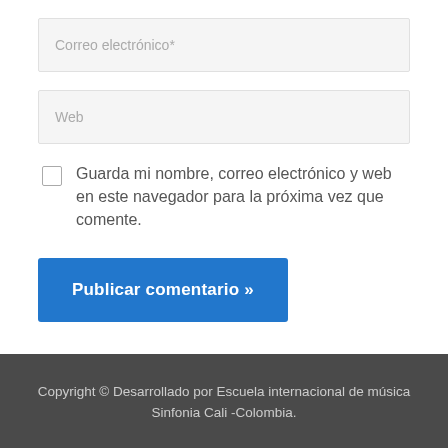Correo electrónico*
Web
Guarda mi nombre, correo electrónico y web en este navegador para la próxima vez que comente.
Publicar comentario »
Copyright © Desarrollado por Escuela internacional de música Sinfonia Cali -Colombia.